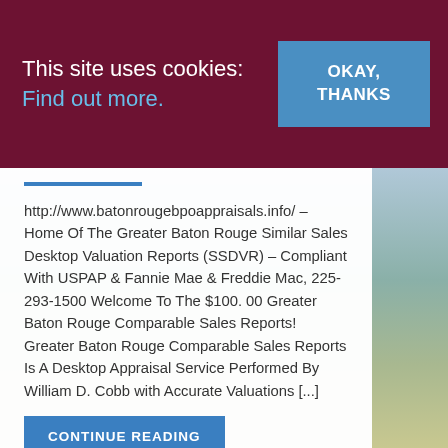This site uses cookies: Find out more. OKAY, THANKS
http://www.batonrougebpoappraisals.info/ – Home Of The Greater Baton Rouge Similar Sales Desktop Valuation Reports (SSDVR) – Compliant With USPAP & Fannie Mae & Freddie Mac, 225-293-1500 Welcome To The $100. 00 Greater Baton Rouge Comparable Sales Reports! Greater Baton Rouge Comparable Sales Reports Is A Desktop Appraisal Service Performed By William D. Cobb with Accurate Valuations [...]
CONTINUE READING